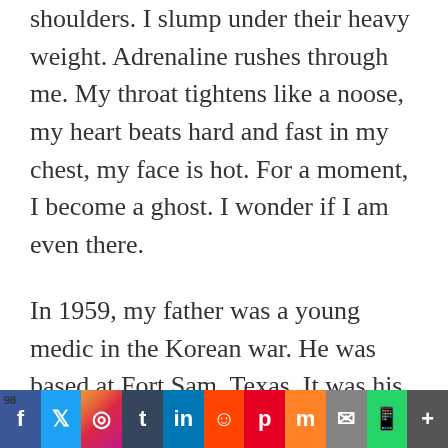shoulders. I slump under their heavy weight. Adrenaline rushes through me. My throat tightens like a noose, my heart beats hard and fast in my chest, my face is hot. For a moment, I become a ghost. I wonder if I am even there.
In 1959, my father was a young medic in the Korean war. He was based at Fort Sam, Texas. It was his first time outside of California, which he found to be nearly free compared to the South. My father once told me a story about the first and last time he joined a group of
[Figure (other): Social media sharing bar with icons for Facebook, Twitter, Instagram, Tumblr, LinkedIn, Reddit, Pinterest, Mix, Email, WhatsApp, and More. A badge showing '98' appears in the top-left corner.]